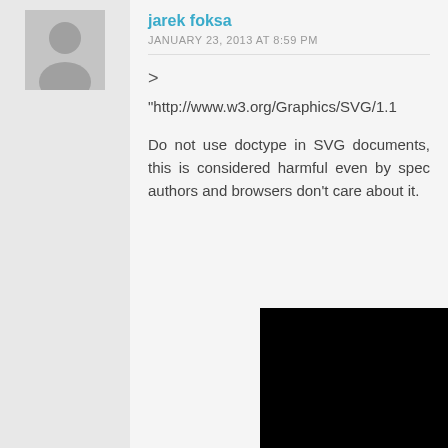[Figure (illustration): User avatar placeholder — grey silhouette of a person on grey background]
jarek foksa
JANUARY 23, 2013 AT 8:59 PM
>
“http://www.w3.org/Graphics/SVG/1.1
Do not use doctype in SVG documents, this is considered harmful even by spec authors and browsers don’t care about it.
> However viewBox, system co... > Our vie...